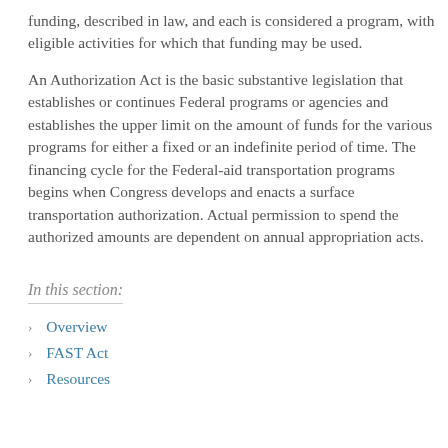funding, described in law, and each is considered a program, with eligible activities for which that funding may be used.
An Authorization Act is the basic substantive legislation that establishes or continues Federal programs or agencies and establishes the upper limit on the amount of funds for the various programs for either a fixed or an indefinite period of time. The financing cycle for the Federal-aid transportation programs begins when Congress develops and enacts a surface transportation authorization. Actual permission to spend the authorized amounts are dependent on annual appropriation acts.
In this section:
Overview
FAST Act
Resources